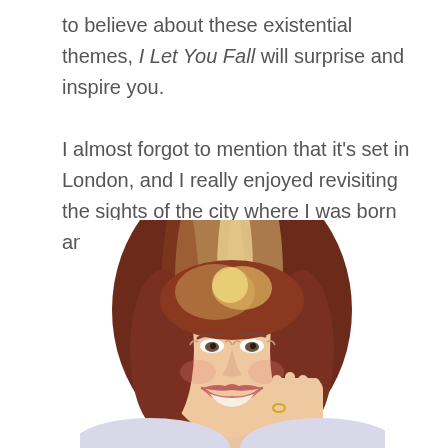to believe about these existential themes, I Let You Fall will surprise and inspire you.

I almost forgot to mention that it's set in London, and I really enjoyed revisiting the sights of the city where I was born and used to live.
[Figure (photo): Portrait photo of a smiling middle-aged woman with shoulder-length auburn/blonde highlighted hair, resting her chin on her hand, white background.]